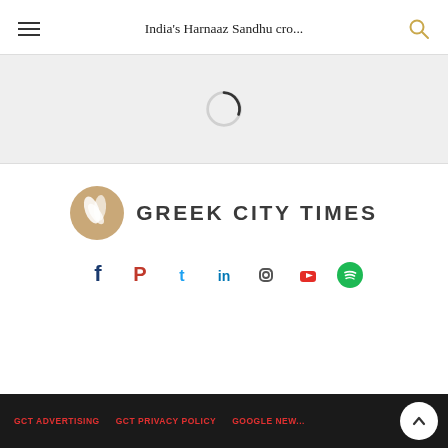India's Harnaaz Sandhu cro...
[Figure (screenshot): Loading spinner — circular grey ring with dark arc indicating loading state]
[Figure (logo): Greek City Times logo: tan/gold circle with white leaf/wing mark, followed by bold text GREEK CITY TIMES]
[Figure (infographic): Row of social media icons: Facebook (dark blue), Pinterest (red), Twitter (blue), LinkedIn (blue), Instagram (grey/black), YouTube (red), Spotify (green)]
GCT ADVERTISING   GCT PRIVACY POLICY   GOOGLE NEW...